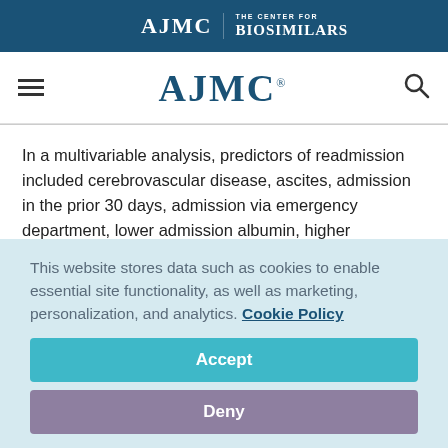AJMC | THE CENTER FOR BIOSIMILARS
[Figure (logo): AJMC logo with hamburger menu and search icon navigation bar]
In a multivariable analysis, predictors of readmission included cerebrovascular disease, ascites, admission in the prior 30 days, admission via emergency department, lower admission albumin, higher discharge MELD score, and discharge via public transportation. Basic ADL impairment and impaired
This website stores data such as cookies to enable essential site functionality, as well as marketing, personalization, and analytics. Cookie Policy
Accept
Deny